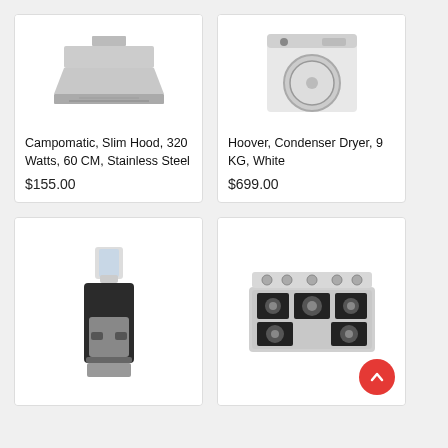[Figure (photo): Campomatic Slim Hood kitchen appliance product image]
Campomatic, Slim Hood, 320 Watts, 60 CM, Stainless Steel
$155.00
[Figure (photo): Hoover Condenser Dryer 9 KG White product image]
Hoover, Condenser Dryer, 9 KG, White
$699.00
[Figure (photo): Water dispenser product image – tall black and stainless steel floor-standing dispenser]
[Figure (photo): Gas hob cooktop product image – 5-burner stainless steel built-in hob]